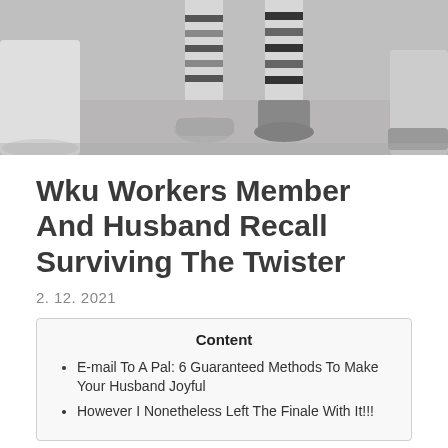[Figure (photo): Grayscale photo showing feet/legs of people, one wearing athletic shoes with striped socks, another in boots, cropped at mid-calf level on a light floor.]
Wku Workers Member And Husband Recall Surviving The Twister
2. 12. 2021
Content
E-mail To A Pal: 6 Guaranteed Methods To Make Your Husband Joyful
However I Nonetheless Left The Finale With It!!!